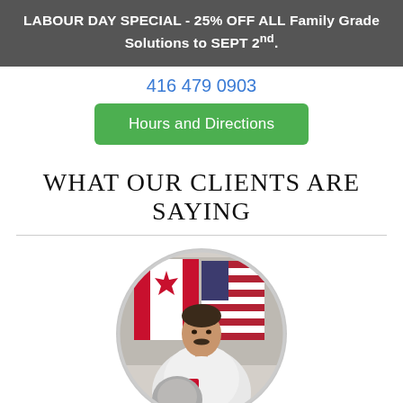LABOUR DAY SPECIAL - 25% OFF ALL Family Grade Solutions to SEPT 2nd.
416 479 0903
Hours and Directions
WHAT OUR CLIENTS ARE SAYING
[Figure (photo): Circular portrait photo of a Canadian astronaut in a white spacesuit holding a helmet, with a Canadian flag and American flag in the background.]